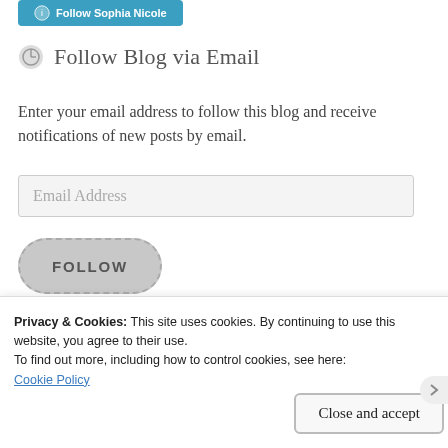[Figure (screenshot): Teal 'Follow Sophia Nicole' button at top of sidebar widget]
Follow Blog via Email
Enter your email address to follow this blog and receive notifications of new posts by email.
[Figure (screenshot): Email Address input field (light grey background)]
[Figure (screenshot): FOLLOW button with grey pill shape and dashed border]
Follow Us
Privacy & Cookies: This site uses cookies. By continuing to use this website, you agree to their use.
To find out more, including how to control cookies, see here:
Cookie Policy
Close and accept